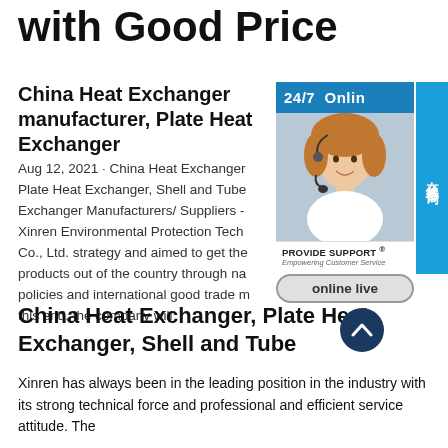with Good Price
China Heat Exchanger manufacturer, Plate Heat Exchanger
Aug 12, 2021 · China Heat Exchanger manufacturer, Plate Heat Exchanger, Shell and Tube Exchanger Manufacturers/ Suppliers - Xinren Environmental Protection Tech Co., Ltd. strategy and aimed to get the products out of the country through national policies and international good trade m... this end, the company will
[Figure (infographic): 24/7 online chat support widget with customer service representative photo, 'PROVIDE SUPPORT® Empowering Customer Service' label, 'online live' button, Chinese text '在线咨询' (online consultation), and scroll-up arrow button]
China Heat Exchanger, Plate Heat Exchanger, Shell and Tube
Xinren has always been in the leading position in the industry with its strong technical force and professional and efficient service attitude. The